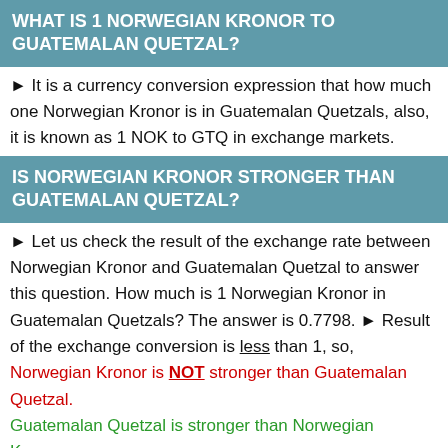WHAT IS 1 NORWEGIAN KRONOR TO GUATEMALAN QUETZAL?
► It is a currency conversion expression that how much one Norwegian Kronor is in Guatemalan Quetzals, also, it is known as 1 NOK to GTQ in exchange markets.
IS NORWEGIAN KRONOR STRONGER THAN GUATEMALAN QUETZAL?
► Let us check the result of the exchange rate between Norwegian Kronor and Guatemalan Quetzal to answer this question. How much is 1 Norwegian Kronor in Guatemalan Quetzals? The answer is 0.7798. ► Result of the exchange conversion is less than 1, so, Norwegian Kronor is NOT stronger than Guatemalan Quetzal. Guatemalan Quetzal is stronger than Norwegian Kronor..
HOW DO YOU WRITE CURRENCY NOK AND GTQ?
► NOK is the abbreviation of Norwegian Kronor. The plural version of